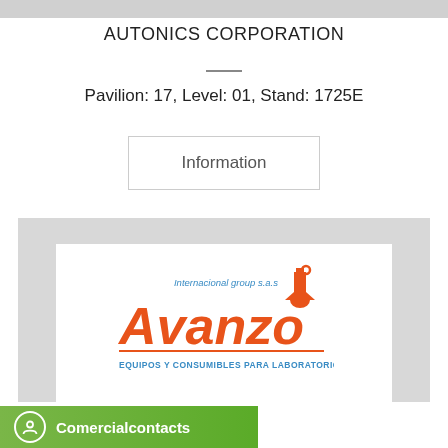AUTONICS CORPORATION
Pavilion: 17, Level: 01, Stand: 1725E
Information
[Figure (logo): Avanzo Internacional group s.a.s logo — orange stylized text 'Avanzo' with laboratory flask icon, subtitle 'EQUIPOS Y CONSUMIBLES PARA LABORATORIO']
Comercialcontacts